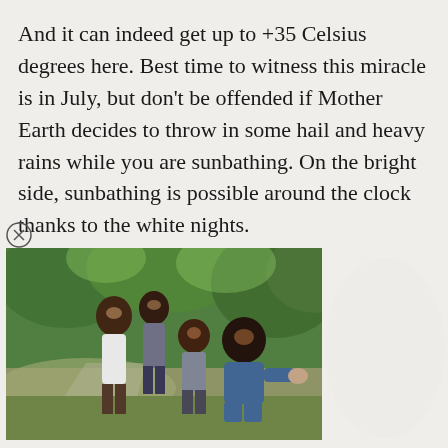And it can indeed get up to +35 Celsius degrees here. Best time to witness this miracle is in July, but don't be offended if Mother Earth decides to throw in some hail and heavy rains while you are sunbathing. On the bright side, sunbathing is possible around the clock thanks to the white nights.
[Figure (photo): A family of four (mother, father, and two children) smiling outdoors in a park with green trees in the background. The father is crouching and the family appears joyful.]